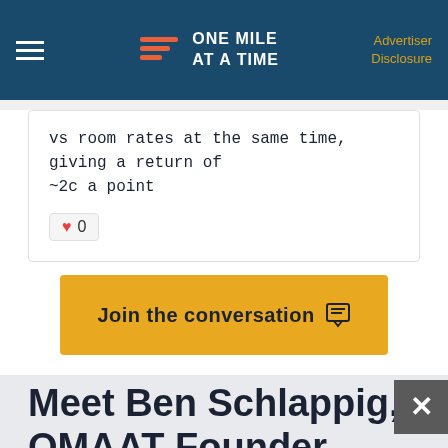ONE MILE AT A TIME | Advertiser Disclosure
vs room rates at the same time, giving a return of ~2c a point
0
Join the conversation
Meet Ben Schlappig, OMAAT Founder